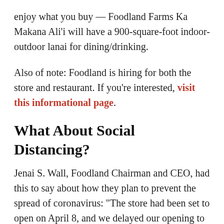enjoy what you buy — Foodland Farms Ka Makana Ali'i will have a 900-square-foot indoor-outdoor lanai for dining/drinking.
Also of note: Foodland is hiring for both the store and restaurant. If you're interested, visit this informational page.
What About Social Distancing?
Jenai S. Wall, Foodland Chairman and CEO, had this to say about how they plan to prevent the spread of coronavirus: “The store had been set to open on April 8, and we delayed our opening to be sensitive to restrictions and requirements surrounding the pandemic. The extra months of planning have given us more time to ensure we